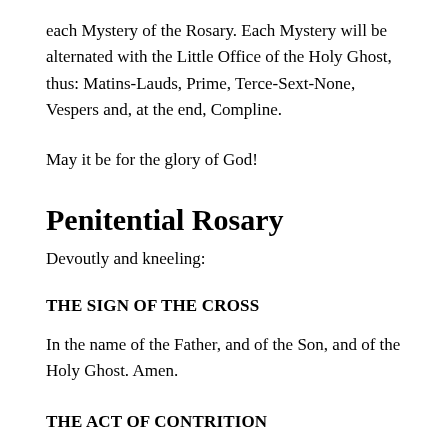each Mystery of the Rosary. Each Mystery will be alternated with the Little Office of the Holy Ghost, thus: Matins-Lauds, Prime, Terce-Sext-None, Vespers and, at the end, Compline.
May it be for the glory of God!
Penitential Rosary
Devoutly and kneeling:
THE SIGN OF THE CROSS
In the name of the Father, and of the Son, and of the Holy Ghost. Amen.
THE ACT OF CONTRITION